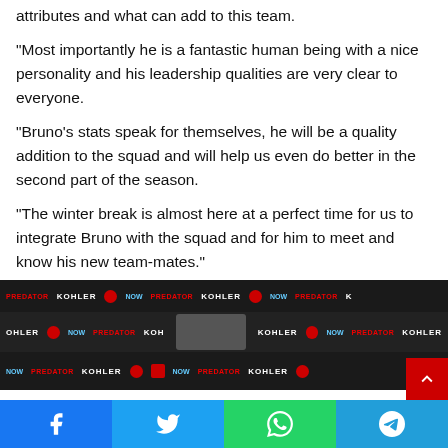attributes and what can add to this team. "Most importantly he is a fantastic human being with a nice personality and his leadership qualities are very clear to everyone. "Bruno's stats speak for themselves, he will be a quality addition to the squad and will help us even do better in the second part of the season. "The winter break is almost here at a perfect time for us to integrate Bruno with the squad and for him to meet and know his new team-mates." Fernandes on Thursday signed a five-and-a-half-year contract until June 2025, with the option of a further year extension.
[Figure (photo): Two men posing in front of a sponsor backdrop featuring KOHLER, Manchester United NOW, and PREDATOR logos. One man wears black, the other wears a red Manchester United kit.]